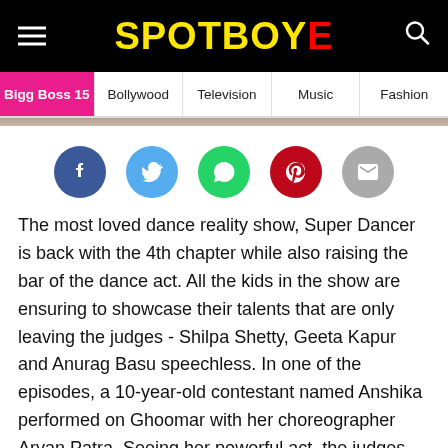SPOTBOYE
Bigg Boss 15 | Bollywood | Television | Music | Fashion
[Figure (infographic): Social share buttons: Facebook (blue circle), Twitter (light blue circle), WhatsApp (green circle), Pinterest (red circle), Email (grey circle)]
The most loved dance reality show, Super Dancer is back with the 4th chapter while also raising the bar of the dance act. All the kids in the show are ensuring to showcase their talents that are only leaving the judges - Shilpa Shetty, Geeta Kapur and Anurag Basu speechless. In one of the episodes, a 10-year-old contestant named Anshika performed on Ghoomar with her choreographer Aryan Patra. Seeing her powerful act, the judges are completely smitten by her and gave a standing ovation.